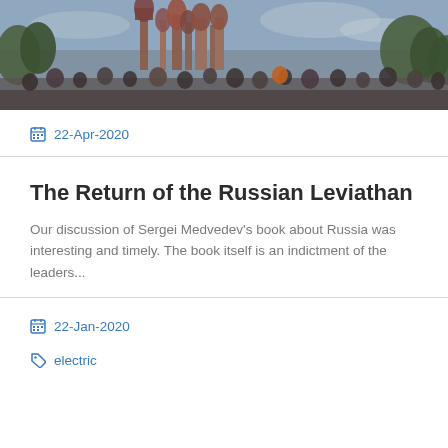[Figure (photo): Photograph of a Russian cathedral (likely St. Basil's Cathedral in Moscow) with a crowd of people in the foreground, taken at dusk or evening with a cloudy sky.]
22-Apr-2020
The Return of the Russian Leviathan
Our discussion of Sergei Medvedev's book about Russia was interesting and timely.  The book itself is an indictment of the leaders...
22-Jan-2020
electric